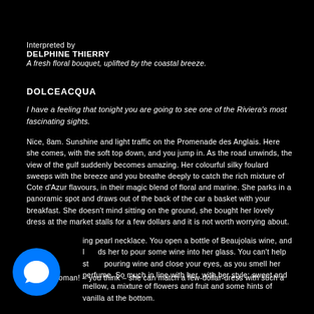Interpreted by
DELPHINE THIERRY
A fresh floral bouquet, uplifted by the coastal breeze.
DOLCEACQUA
I have a feeling that tonight you are going to see one of the Riviera's most fascinating sights.
Nice, 8am. Sunshine and light traffic on the Promenade des Anglais. Here she comes, with the soft top down, and you jump in. As the road unwinds, the view of the gulf suddenly becomes amazing. Her colourful silky foulard sweeps with the breeze and you breathe deeply to catch the rich mixture of Cote d'Azur flavours, in their magic blend of floral and marine. She parks in a panoramic spot and draws out of the back of the car a basket with your breakfast. She doesn't mind sitting on the ground, she bought her lovely dress at the market stalls for a few dollars and it is not worth worrying about.
What a woman! – you think – she can match a few-dollar-dress with such a dazzling pearl necklace. You open a bottle of Beaujolais wine, and let her to pour some wine into her glass. You can't help stop pouring wine and close your eyes, as you smell her perfume. So much in line with her, with her style: sweet and mellow, a mixture of flowers and fruit and some hints of vanilla at the bottom.